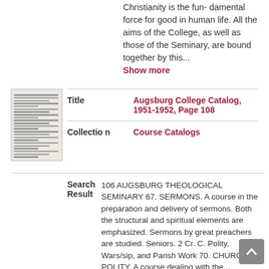Christianity is the fun- damental force for good in human life. All the aims of the College, as well as those of the Seminary, are bound together by this...
Show more
|  | Label | Value |
| --- | --- | --- |
| [thumbnail] | Title | Augsburg College Catalog, 1951-1952, Page 108 |
|  | Collection | Course Catalogs |
| Label | Value |
| --- | --- |
| Search Result | 106 AUGSBURG THEOLOGICAL SEMINARY 67. SERMONS. A course in the preparation and delivery of sermons. Both the structural and spiritual elements are emphasized. Sermons by great preachers are studied. Seniors. 2 Cr. C. Polity, Wars/sip, and Parish Work 70. CHURCH POLITY. A course dealing with the... |